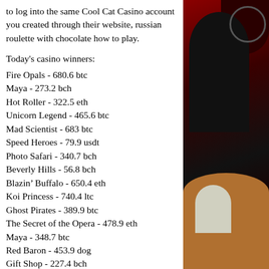to log into the same Cool Cat Casino account you created through their website, russian roulette with chocolate how to play.
Today's casino winners:
Fire Opals - 680.6 btc
Maya - 273.2 bch
Hot Roller - 322.5 eth
Unicorn Legend - 465.6 btc
Mad Scientist - 683 btc
Speed Heroes - 79.9 usdt
Photo Safari - 340.7 bch
Beverly Hills - 56.8 bch
Blazin’ Buffalo - 650.4 eth
Koi Princess - 740.4 ltc
Ghost Pirates - 389.9 btc
The Secret of the Opera - 478.9 eth
Maya - 348.7 btc
Red Baron - 453.9 dog
Gift Shop - 227.4 bch
[Figure (photo): Dark photo showing a person in dark clothing against a dark red and black background, with what appears to be a person with light-colored hair at the bottom.]